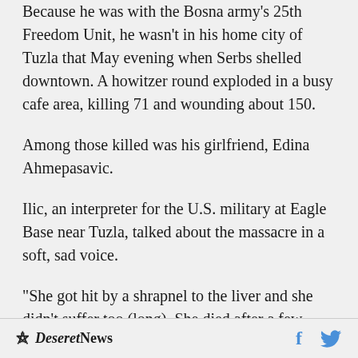Because he was with the Bosna army's 25th Freedom Unit, he wasn't in his home city of Tuzla that May evening when Serbs shelled downtown. A howitzer round exploded in a busy cafe area, killing 71 and wounding about 150.
Among those killed was his girlfriend, Edina Ahmepasavic.
Ilic, an interpreter for the U.S. military at Eagle Base near Tuzla, talked about the massacre in a soft, sad voice.
"She got hit by a shrapnel to the liver and she didn't suffer too (long). She died after a few
Deseret News  f  [twitter]